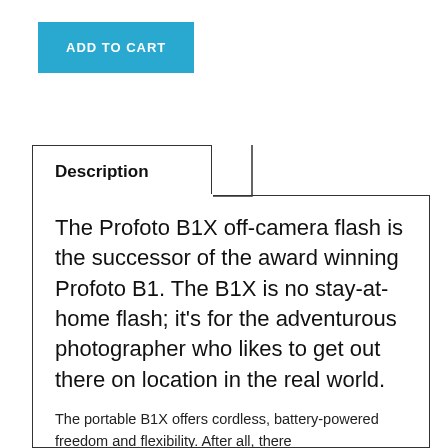[Figure (other): ADD TO CART button — a teal/cyan rectangular button with white uppercase text]
Description
The Profoto B1X off-camera flash is the successor of the award winning Profoto B1. The B1X is no stay-at-home flash; it’s for the adventurous photographer who likes to get out there on location in the real world.
The portable B1X offers cordless, battery-powered freedom and flexibility. After all, there